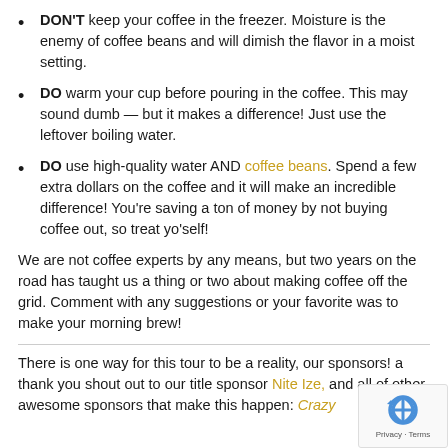DON'T keep your coffee in the freezer. Moisture is the enemy of coffee beans and will dimish the flavor in a moist setting.
DO warm your cup before pouring in the coffee. This may sound dumb — but it makes a difference! Just use the leftover boiling water.
DO use high-quality water AND coffee beans. Spend a few extra dollars on the coffee and it will make an incredible difference! You're saving a ton of money by not buying coffee out, so treat yo'self!
We are not coffee experts by any means, but two years on the road has taught us a thing or two about making coffee off the grid. Comment with any suggestions or your favorite was to make your morning brew!
There is one way for this tour to be a reality, our sponsors! a thank you shout out to our title sponsor Nite Ize, and all of other awesome sponsors that make this happen: Crazy